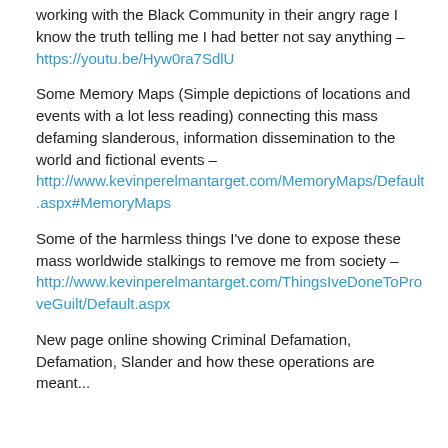working with the Black Community in their angry rage I know the truth telling me I had better not say anything – https://youtu.be/Hyw0ra7SdlU
Some Memory Maps (Simple depictions of locations and events with a lot less reading) connecting this mass defaming slanderous, information dissemination to the world and fictional events – http://www.kevinperelmantarget.com/MemoryMaps/Default.aspx#MemoryMaps
Some of the harmless things I've done to expose these mass worldwide stalkings to remove me from society – http://www.kevinperelmantarget.com/ThingsIveDoneToProveGuilt/Default.aspx
New page online showing Criminal Defamation, Defamation, Slander and how these operations are meant...